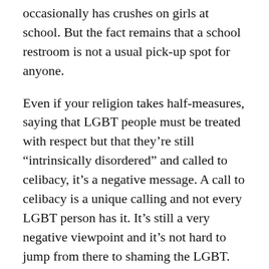occasionally has crushes on girls at school. But the fact remains that a school restroom is not a usual pick-up spot for anyone.
Even if your religion takes half-measures, saying that LGBT people must be treated with respect but that they're still "intrinsically disordered" and called to celibacy, it's a negative message. A call to celibacy is a unique calling and not every LGBT person has it. It's still a very negative viewpoint and it's not hard to jump from there to shaming the LGBT. Everyone has an innate desire to be loved and it's not right to say that all LGBT expressions of love must be chaste.
What it all comes down to is that I don't believe attraction is a choice. How you act on it is a choice, of course, which is why I don't pursue sex with women despite being bisexual. Married straight people are generally supposed to discipline themselves not to act on their extramarital